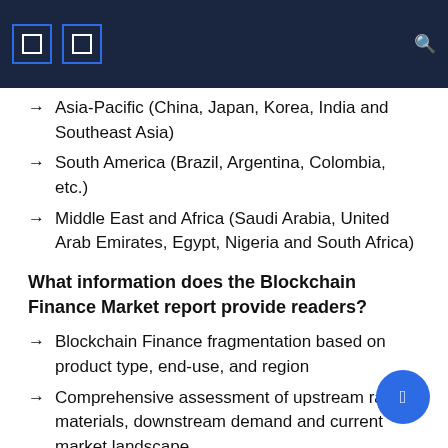→ Asia-Pacific (China, Japan, Korea, India and Southeast Asia)
→ South America (Brazil, Argentina, Colombia, etc.)
→ Middle East and Africa (Saudi Arabia, United Arab Emirates, Egypt, Nigeria and South Africa)
What information does the Blockchain Finance Market report provide readers?
→ Blockchain Finance fragmentation based on product type, end-use, and region
→ Comprehensive assessment of upstream raw materials, downstream demand and current market landscape